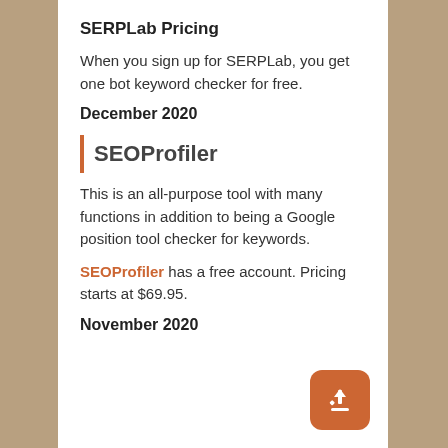SERPLab Pricing
When you sign up for SERPLab, you get one bot keyword checker for free.
December 2020
SEOProfiler
This is an all-purpose tool with many functions in addition to being a Google position tool checker for keywords.
SEOProfiler has a free account. Pricing starts at $69.95.
November 2020